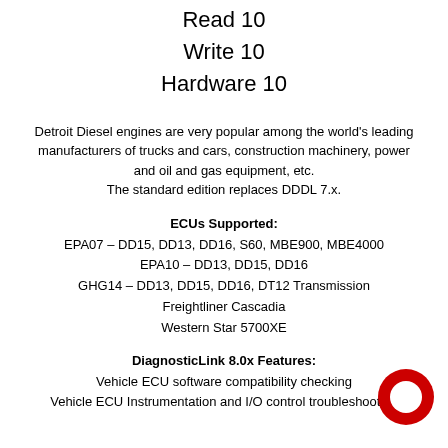Read 10
Write 10
Hardware 10
Detroit Diesel engines are very popular among the world's leading manufacturers of trucks and cars, construction machinery, power and oil and gas equipment, etc.
The standard edition replaces DDDL 7.x.
ECUs Supported:
EPA07 – DD15, DD13, DD16, S60, MBE900, MBE4000
EPA10 – DD13, DD15, DD16
GHG14 – DD13, DD15, DD16, DT12 Transmission
Freightliner Cascadia
Western Star 5700XE
DiagnosticLink 8.0x Features:
Vehicle ECU software compatibility checking
Vehicle ECU Instrumentation and I/O control troubleshooting
[Figure (logo): Red circular logo icon (ring/donut shape) in bottom right area]